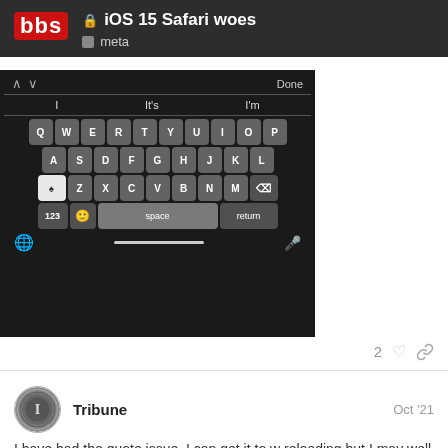iOS 15 Safari woes | meta
[Figure (screenshot): iOS keyboard screenshot showing QWERTY layout with dark theme. Top bar has arrow navigation and Done button. Suggestion row shows: I, It's, I'm. Rows: Q W E R T Y U I O P, A S D F G H J K L, Shift Z X C V B N M Delete, 123 Emoji space return. Bottom has globe icon, home bar, mic icon.]
2 ♡ 🔗
Tribune   Oct '21
I have had the quote issue. I can get it to w reloading but I may well have done enougl